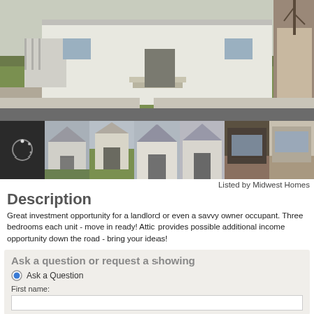[Figure (photo): Main exterior photo of a two-story white house with green lawn and front steps]
[Figure (photo): Row of thumbnail property photos showing various exterior and interior views]
Listed by Midwest Homes
Description
Great investment opportunity for a landlord or even a savvy owner occupant. Three bedrooms each unit - move in ready! Attic provides possible additional income opportunity down the road - bring your ideas!
Ask a question or request a showing
Ask a Question
First name: